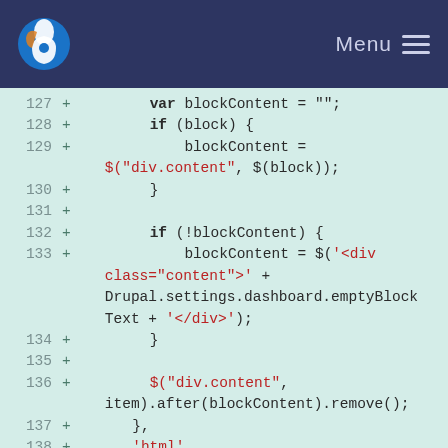Menu
[Figure (screenshot): Code diff viewer showing lines 127-140 of a JavaScript file with additions marked by '+' signs. Code involves blockContent variable handling, jQuery selectors, and Drupal.settings references.]